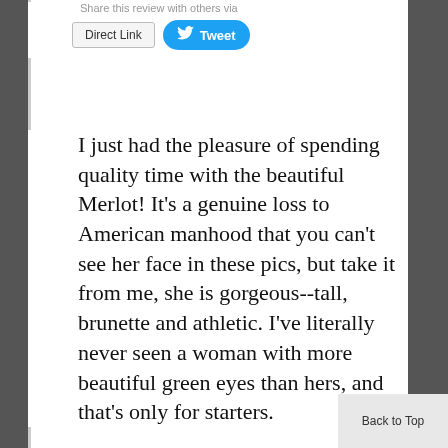Share this review with others via
Direct Link
Tweet
I just had the pleasure of spending quality time with the beautiful Merlot! It's a genuine loss to American manhood that you can't see her face in these pics, but take it from me, she is gorgeous--tall, brunette and athletic. I've literally never seen a woman with more beautiful green eyes than hers, and that's only for starters.
Back to Top